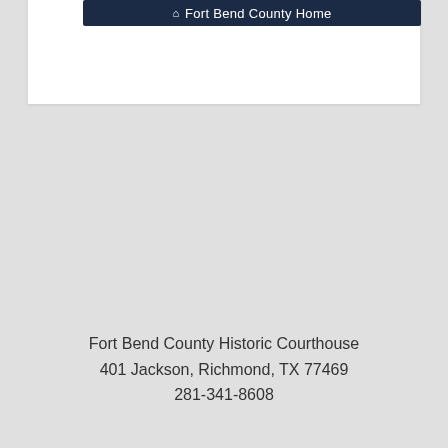[Figure (screenshot): Navigation bar with dark navy background showing a home icon and text 'Fort Bend County Home']
Fort Bend County Historic Courthouse
401 Jackson, Richmond, TX 77469
281-341-8608